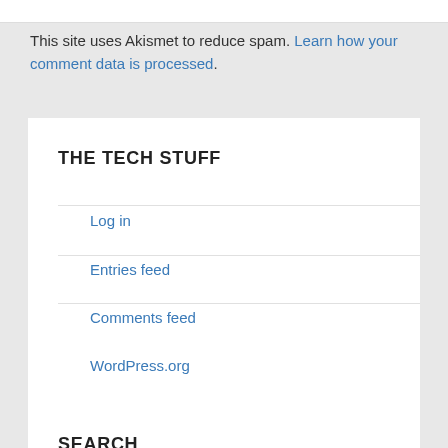This site uses Akismet to reduce spam. Learn how your comment data is processed.
THE TECH STUFF
Log in
Entries feed
Comments feed
WordPress.org
SEARCH